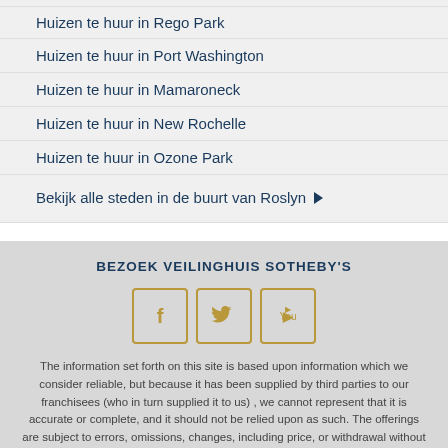Huizen te huur in Rego Park
Huizen te huur in Port Washington
Huizen te huur in Mamaroneck
Huizen te huur in New Rochelle
Huizen te huur in Ozone Park
Bekijk alle steden in de buurt van Roslyn ▶
BEZOEK VEILINGHUIS SOTHEBY'S
[Figure (other): Social media icons for Facebook, Twitter, and YouTube with gold border boxes]
The information set forth on this site is based upon information which we consider reliable, but because it has been supplied by third parties to our franchisees (who in turn supplied it to us) , we cannot represent that it is accurate or complete, and it should not be relied upon as such. The offerings are subject to errors, omissions, changes, including price, or withdrawal without notice. All dimensions are approximate and have not been verified by the selling party and cannot be verified by North Country Sotheby's International Realty. It is recommended that you hire a professional in the